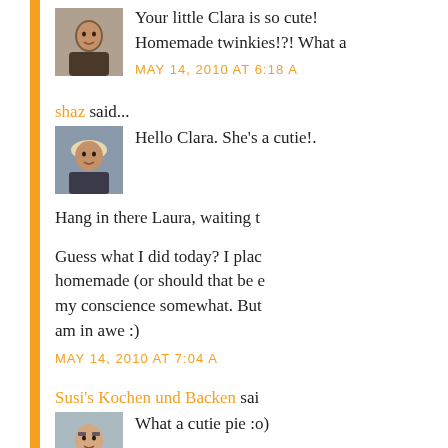[Figure (photo): Avatar of first commenter - woman with dark hair]
Your little Clara is so cute! Homemade twinkies!?! What a
MAY 14, 2010 AT 6:18 A
shaz said...
[Figure (photo): Avatar of shaz - person with hat]
Hello Clara. She's a cutie!.
Hang in there Laura, waiting t
Guess what I did today? I plac homemade (or should that be e my conscience somewhat. But am in awe :)
MAY 14, 2010 AT 7:04 A
Susi's Kochen und Backen sai
[Figure (photo): Avatar of Susi's Kochen und Backen - person with glasses]
What a cutie pie :o)
Oh and I'm so so jealous you h